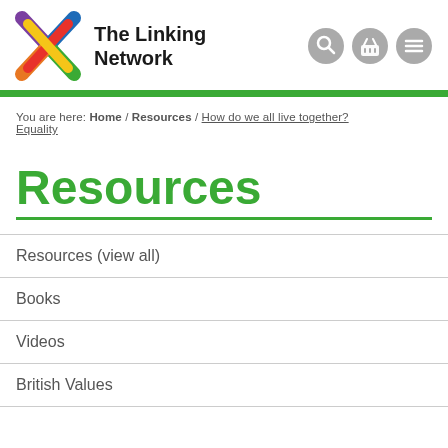[Figure (logo): The Linking Network logo with colorful X mark and bold text 'The Linking Network']
You are here: Home / Resources / How do we all live together? Equality
Resources
Resources (view all)
Books
Videos
British Values